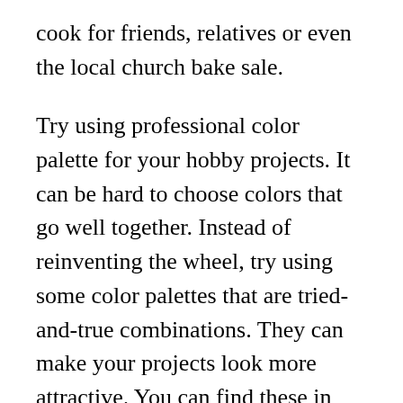cook for friends, relatives or even the local church bake sale.
Try using professional color palette for your hobby projects. It can be hard to choose colors that go well together. Instead of reinventing the wheel, try using some color palettes that are tried-and-true combinations. They can make your projects look more attractive. You can find these in paint brochures at your local paint store.
Don't allow your hobby to distract you from the more important things in life. You should make sure you have the time to do things besides your hobby. If you see your hobby getting in